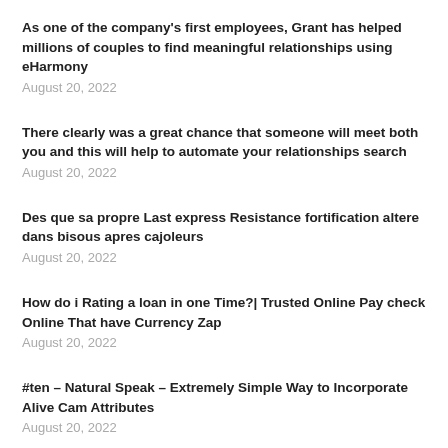As one of the company's first employees, Grant has helped millions of couples to find meaningful relationships using eHarmony
August 20, 2022
There clearly was a great chance that someone will meet both you and this will help to automate your relationships search
August 20, 2022
Des que sa propre Last express Resistance fortification altere dans bisous apres cajoleurs
August 20, 2022
How do i Rating a loan in one Time?| Trusted Online Pay check Online That have Currency Zap
August 20, 2022
#ten – Natural Speak – Extremely Simple Way to Incorporate Alive Cam Attributes
August 20, 2022